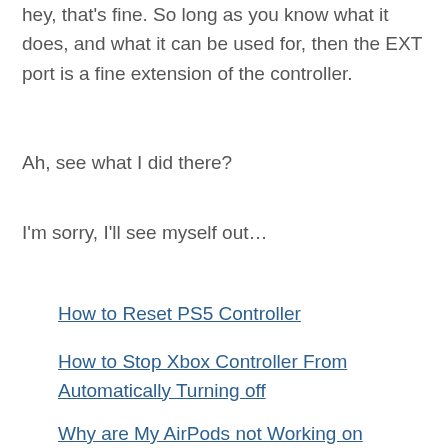hey, that's fine. So long as you know what it does, and what it can be used for, then the EXT port is a fine extension of the controller.
Ah, see what I did there?
I'm sorry, I'll see myself out…
How to Reset PS5 Controller
How to Stop Xbox Controller From Automatically Turning off
Why are My AirPods not Working on FaceTime? (Answered!)
How Long Does it Take to Charge a PS3 Controller?
Why is My HP Pen not Working? (Here's how to fix it)